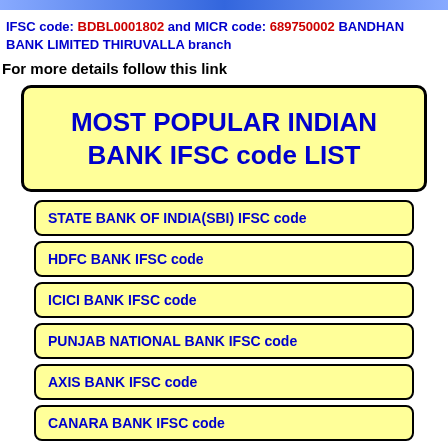IFSC code: BDBL0001802 and MICR code: 689750002 BANDHAN BANK LIMITED THIRUVALLA branch
For more details follow this link
MOST POPULAR INDIAN BANK IFSC code LIST
STATE BANK OF INDIA(SBI) IFSC code
HDFC BANK IFSC code
ICICI BANK IFSC code
PUNJAB NATIONAL BANK IFSC code
AXIS BANK IFSC code
CANARA BANK IFSC code